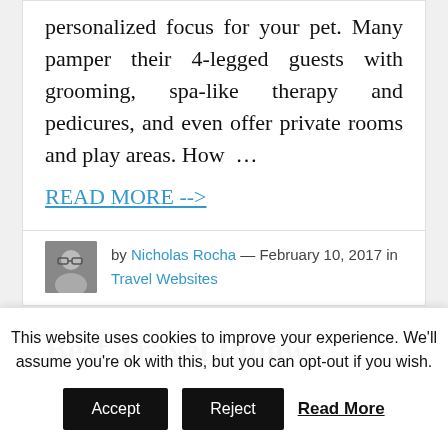personalized focus for your pet. Many pamper their 4-legged guests with grooming, spa-like therapy and pedicures, and even offer private rooms and play areas. How …
READ MORE -->
by Nicholas Rocha — February 10, 2017 in Travel Websites
Best Travel Pillow
This website uses cookies to improve your experience. We'll assume you're ok with this, but you can opt-out if you wish.